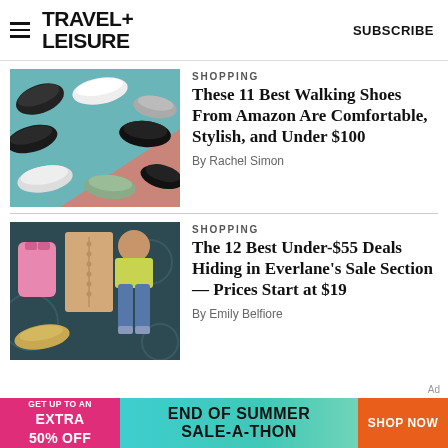TRAVEL+ LEISURE | SUBSCRIBE
[Figure (photo): Collection of walking shoes on teal and pink background]
SHOPPING
These 11 Best Walking Shoes From Amazon Are Comfortable, Stylish, and Under $100
By Rachel Simon
[Figure (photo): Fashion items including pink swimsuit, beige button skirt, yellow top, jeans, and sneakers on dark teal background]
SHOPPING
The 12 Best Under-$55 Deals Hiding in Everlane's Sale Section — Prices Start at $19
By Emily Belfiore
[Figure (infographic): Advertisement banner: GET UP TO AN EXTRA 50% OFF | END OF SUMMER SALE-A-THON | SHOP NOW]